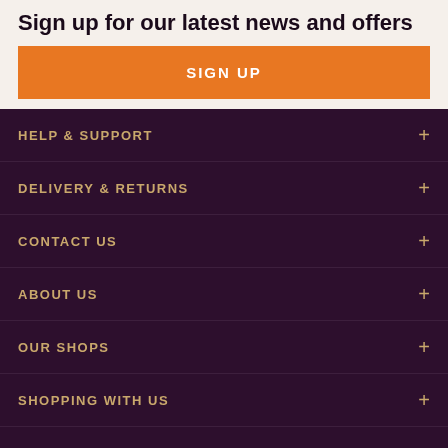Sign up for our latest news and offers
SIGN UP
HELP & SUPPORT
DELIVERY & RETURNS
CONTACT US
ABOUT US
OUR SHOPS
SHOPPING WITH US
LEGAL INFORMATION
UNIQUE TO US
SAFE & SECURE
KEEP IN TOUCH